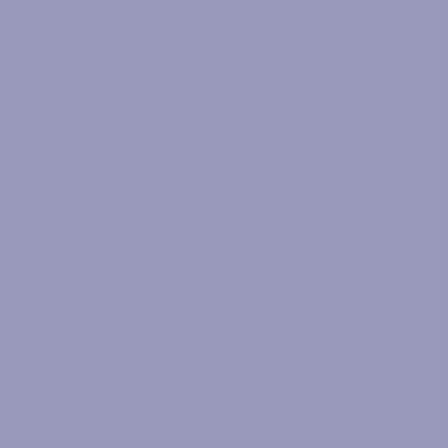| Rank | Player |
| --- | --- |
| 44 | Wo |
| 45 | Bu |
| 46 | Ro |
| 47 | Re |
| 48 | Do |
| 49 | Em |
| 50 | Jo |
| 51 | Bjø |
| 52 | Ro |
| 53 | Jo |
| 54 | Sa |
| 55 | Bre |
| 56 | Do |
| 57 | An |
| 58 | To |
| 59 | Ka |
| 60 | To |
| 61 | Ma |
| 62 | Da |
| 63 | Ba |
| 64 | Ru |
| 65 | Ch |